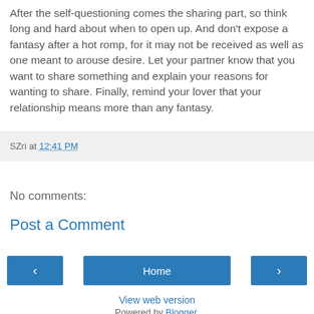After the self-questioning comes the sharing part, so think long and hard about when to open up. And don't expose a fantasy after a hot romp, for it may not be received as well as one meant to arouse desire. Let your partner know that you want to share something and explain your reasons for wanting to share. Finally, remind your lover that your relationship means more than any fantasy.
SZri at 12:41 PM
No comments:
Post a Comment
‹
Home
›
View web version
Powered by Blogger.